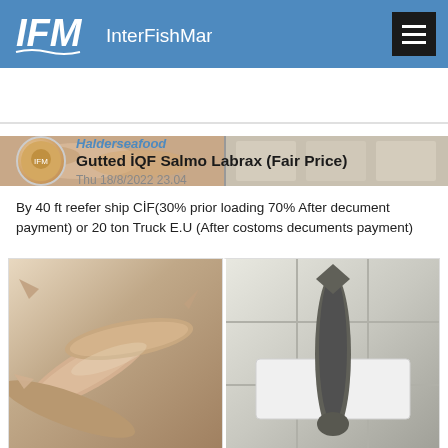IFM InterFishMarket
[Figure (photo): Top strip showing seafood product images in two panels]
Gutted İQF Salmo Labrax (Fair Price)
Halderseafood
Thu 18/8/2022 23.04
By 40 ft reefer ship CİF(30% prior loading 70% After decument payment) or 20 ton Truck E.U (After costoms decuments payment)
[Figure (photo): Two photos of gutted IQF sea bass fish: left photo shows multiple fish in a pile, right photo shows single fish on white styrofoam tray]